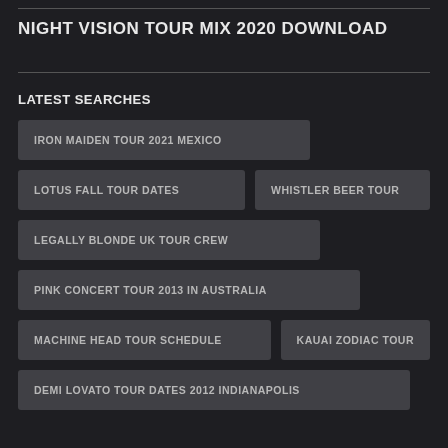NIGHT VISION TOUR MIX 2020 DOWNLOAD
LATEST SEARCHES
IRON MAIDEN TOUR 2021 MEXICO
LOTUS FALL TOUR DATES
WHISTLER BEER TOUR
LEGALLY BLONDE UK TOUR CREW
PINK CONCERT TOUR 2013 IN AUSTRALIA
MACHINE HEAD TOUR SCHEDULE
KAUAI ZODIAC TOUR
DEMI LOVATO TOUR DATES 2012 INDIANAPOLIS